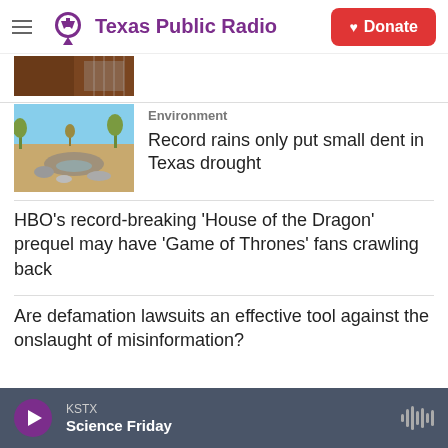Texas Public Radio — Donate
[Figure (photo): Partial view of a photo, top-cropped, showing an interior scene]
[Figure (photo): Outdoor scene with a dry rocky creek bed and sparse vegetation under blue sky — illustrating Texas drought]
Environment
Record rains only put small dent in Texas drought
HBO's record-breaking 'House of the Dragon' prequel may have 'Game of Thrones' fans crawling back
Are defamation lawsuits an effective tool against the onslaught of misinformation?
KSTX Science Friday